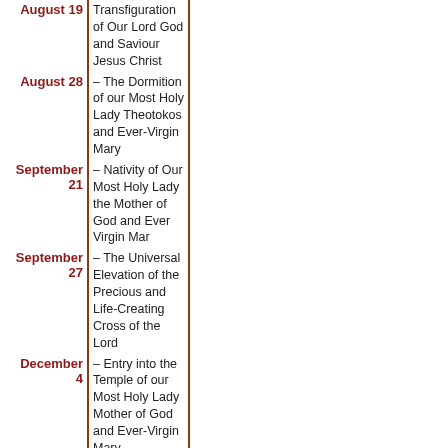| Date | Event |
| --- | --- |
| August 19 | Transfiguration of Our Lord God and Saviour Jesus Christ |
| August 28 | – The Dormition of our Most Holy Lady Theotokos and Ever-Virgin Mary |
| September 21 | – Nativity of Our Most Holy Lady the Mother of God and Ever Virgin Mar |
| September 27 | – The Universal Elevation of the Precious and Life-Creating Cross of the Lord |
| December 4 | – Entry into the Temple of our Most Holy Lady Mother of God and Ever-Virgin Mary |